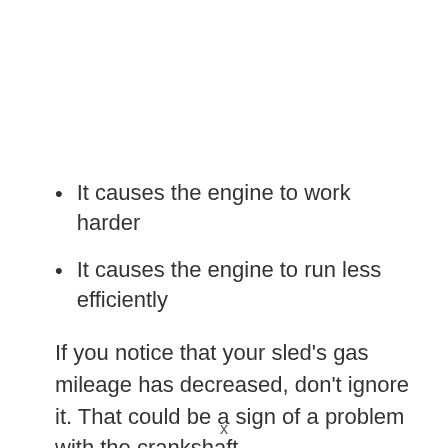It causes the engine to work harder
It causes the engine to run less efficiently
If you notice that your sled’s gas mileage has decreased, don’t ignore it. That could be a sign of a problem with the crankshaft.
You could also be looking at other non-crankshaft